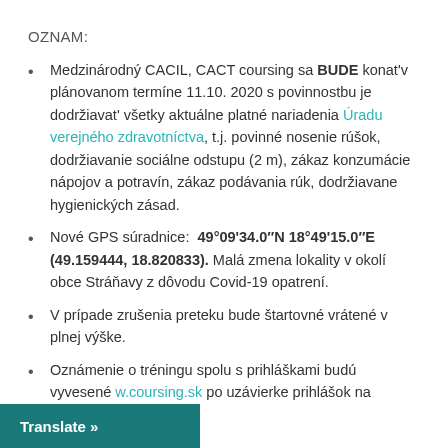OZNAM:
Medzinárodný CACIL, CACT coursing sa BUDE konat'v plánovanom termíne 11.10. 2020 s povinnostbu je dodržiavat' všetky aktuálne platné nariadenia Úradu verejného zdravotníctva, t.j. povinné nosenie rúšok, dodržiavanie sociálne odstupu (2 m), zákaz konzumácie nápojov a potravín, zákaz podávania rúk, dodržiavanie hygienických zásad.
Nové GPS súradnice:  49°09'34.0″N 18°49'15.0″E (49.159444, 18.820833). Malá zmena lokality v okolí obce Stráňavy z dôvodu Covid-19 opatrení.
V prípade zrušenia preteku bude štartovné vrátené v plnej výške.
Oznámenie o tréningu spolu s prihláškami budú vyvesené w.coursing.sk po uzávierke prihlášok na